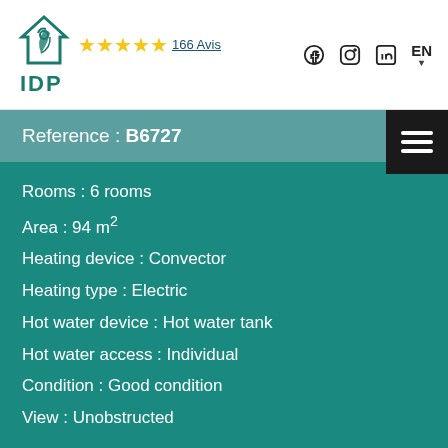[Figure (logo): IDP logo with house/leaf icon and 5 yellow stars, 166 Avis review count]
Reference : B6727
Rooms : 6 rooms
Area : 94 m²
Heating device : Convector
Heating type : Electric
Hot water device : Hot water tank
Hot water access : Individual
Condition : Good condition
View : Unobstructed